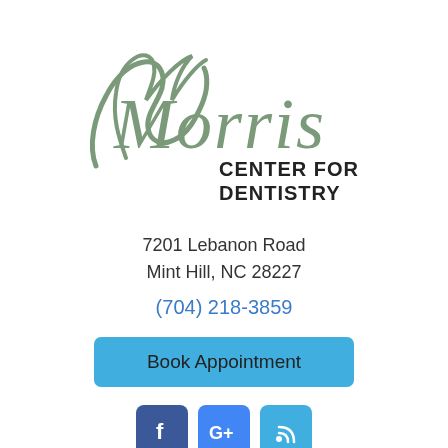[Figure (logo): Morris Center for Dentistry logo — stylized cursive 'Morris' in sage green with 'CENTER FOR DENTISTRY' in bold dark text below]
7201 Lebanon Road
Mint Hill, NC 28227
(704) 218-3859
Book Appointment
[Figure (other): Social media icons: Facebook (f), Google+ (G+), RSS feed]